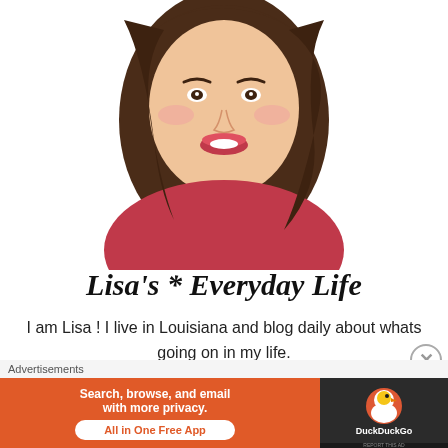[Figure (illustration): Cartoon/illustrated avatar of a woman with brown shoulder-length hair, light skin, rosy cheeks, red lips, wearing a dark red top. Cropped circular style, shown from shoulders up.]
Lisa's * Everyday Life
I am Lisa ! I live in Louisiana and blog daily about whats going on in my life.
R... h... (partially visible header, cut off at bottom)
Advertisements
[Figure (screenshot): DuckDuckGo advertisement banner: orange background with text 'Search, browse, and email with more privacy. All in One Free App' and DuckDuckGo logo on dark right panel.]